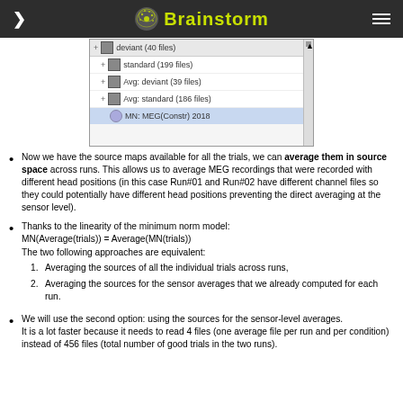Brainstorm
[Figure (screenshot): Brainstorm software file tree screenshot showing deviant (40 files), standard (199 files), Avg: deviant (39 files), Avg: standard (186 files), MN: MEG(Constr) 2018]
Now we have the source maps available for all the trials, we can average them in source space across runs. This allows us to average MEG recordings that were recorded with different head positions (in this case Run#01 and Run#02 have different channel files so they could potentially have different head positions preventing the direct averaging at the sensor level).
Thanks to the linearity of the minimum norm model: MN(Average(trials)) = Average(MN(trials)) The two following approaches are equivalent: 1. Averaging the sources of all the individual trials across runs, 2. Averaging the sources for the sensor averages that we already computed for each run.
We will use the second option: using the sources for the sensor-level averages. It is a lot faster because it needs to read 4 files (one average file per run and per condition) instead of 456 files (total number of good trials in the two runs).